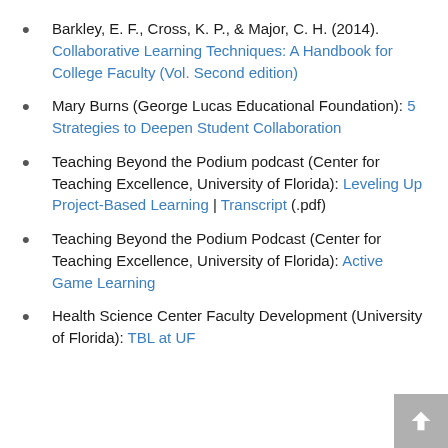Barkley, E. F., Cross, K. P., & Major, C. H. (2014). Collaborative Learning Techniques: A Handbook for College Faculty (Vol. Second edition)
Mary Burns (George Lucas Educational Foundation): 5 Strategies to Deepen Student Collaboration
Teaching Beyond the Podium podcast (Center for Teaching Excellence, University of Florida): Leveling Up Project-Based Learning | Transcript (.pdf)
Teaching Beyond the Podium Podcast (Center for Teaching Excellence, University of Florida): Active Game Learning
Health Science Center Faculty Development (University of Florida): TBL at UF